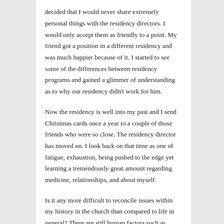decided that I would never share extremely personal things with the residency directors. I would only accept them as friendly to a point. My friend got a position in a different residency and was much happier because of it. I started to see some of the differences between residency programs and gained a glimmer of understanding as to why our residency didn't work for him.
Now the residency is well into my past and I send Christmas cards once a year to a couple of those friends who were so close. The residency director has moved on. I look back on that time as one of fatigue, exhaustion, being pushed to the edge yet learning a tremendously great amount regarding medicine, relationships, and about myself.
Is it any more difficult to reconcile issues within my history in the church than compared to life in general? There are still human factors such as differences of perspectives between leaders and